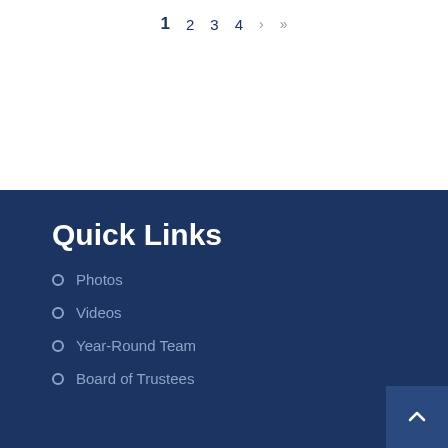1   2   3   4   >   >>
Quick Links
Photos
Videos
Year-Round Team
Board of Trustees